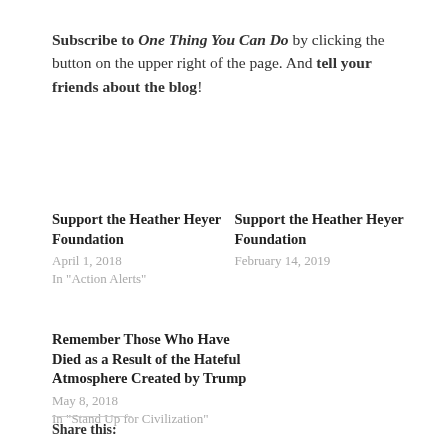Subscribe to One Thing You Can Do by clicking the button on the upper right of the page. And tell your friends about the blog!
Support the Heather Heyer Foundation
April 1, 2018
In "Action Alerts"
Support the Heather Heyer Foundation
February 14, 2019
Remember Those Who Have Died as a Result of the Hateful Atmosphere Created by Trump
May 8, 2018
In "Stand Up for Civilization"
Share this: